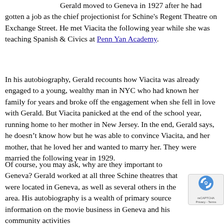Gerald moved to Geneva in 1927 after he had gotten a job as the chief projectionist for Schine's Regent Theatre on Exchange Street. He met Viacita the following year while she was teaching Spanish & Civics at Penn Yan Academy.
In his autobiography, Gerald recounts how Viacita was already engaged to a young, wealthy man in NYC who had known her family for years and broke off the engagement when she fell in love with Gerald. But Viacita panicked at the end of the school year, running home to her mother in New Jersey. In the end, Gerald says, he doesn’t know how but he was able to convince Viacita, and her mother, that he loved her and wanted to marry her. They were married the following year in 1929.
Of course, you may ask, why are they important to Geneva? Gerald worked at all three Schine theatres that were located in Geneva, as well as several others in the area. His autobiography is a wealth of primary source information on the movie business in Geneva and his community activities